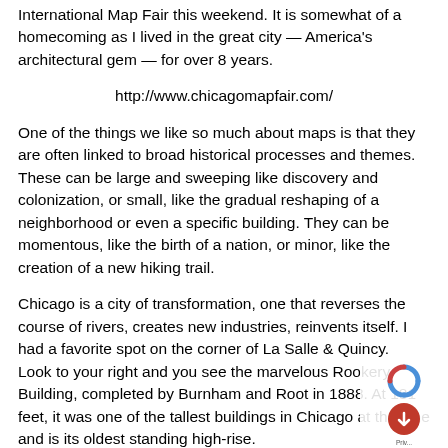International Map Fair this weekend. It is somewhat of a homecoming as I lived in the great city — America's architectural gem — for over 8 years.
http://www.chicagomapfair.com/
One of the things we like so much about maps is that they are often linked to broad historical processes and themes. These can be large and sweeping like discovery and colonization, or small, like the gradual reshaping of a neighborhood or even a specific building. They can be momentous, like the birth of a nation, or minor, like the creation of a new hiking trail.
Chicago is a city of transformation, one that reverses the course of rivers, creates new industries, reinvents itself. I had a favorite spot on the corner of La Salle & Quincy.  Look to your right and you see the marvelous Rookery Building, completed by Burnham and Root in 1888. At 181 feet, it was one of the tallest buildings in Chicago at the time and is its oldest standing high-rise.